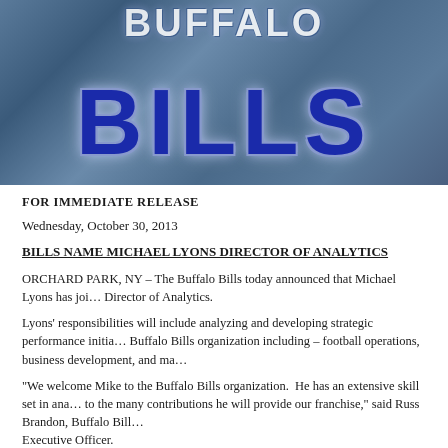[Figure (logo): Buffalo Bills banner logo with large blue BILLS text on metallic blue background with buffalo illustration]
FOR IMMEDIATE RELEASE
Wednesday, October 30, 2013
BILLS NAME MICHAEL LYONS DIRECTOR OF ANALYTICS
ORCHARD PARK, NY – The Buffalo Bills today announced that Michael Lyons has joined the organization as Director of Analytics.
Lyons' responsibilities will include analyzing and developing strategic performance initiatives across all areas of the Buffalo Bills organization including – football operations, business development, and ma...
"We welcome Mike to the Buffalo Bills organization.  He has an extensive skill set in ana... to the many contributions he will provide our franchise," said Russ Brandon, Buffalo Bill... Executive Officer.